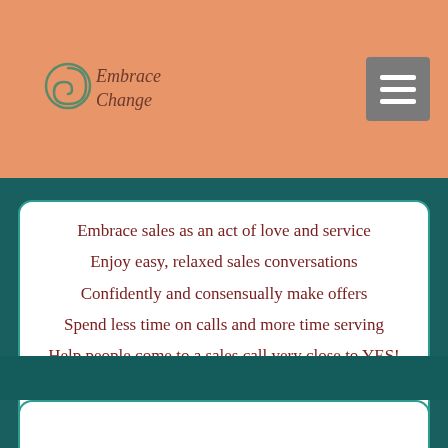[Figure (logo): Embrace Change logo with swirl icon and italic text]
Embrace sales as an act of love and service
Enjoy easy, relaxed sales conversations
Confidently and consensually make offers
Spend less time on calls and more time serving
Help people come to a sales call very close to YES!
Create a pre-sales call process that eliminates confusion